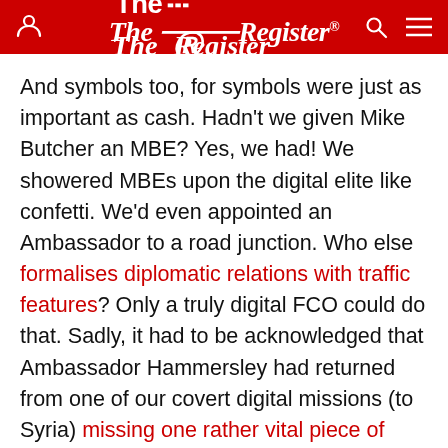The Register
And symbols too, for symbols were just as important as cash. Hadn’t we given Mike Butcher an MBE? Yes, we had! We showered MBEs upon the digital elite like confetti. We’d even appointed an Ambassador to a road junction. Who else formalises diplomatic relations with traffic features? Only a truly digital FCO could do that. Sadly, it had to be acknowledged that Ambassador Hammersley had returned from one of our covert digital missions (to Syria) missing one rather vital piece of equipment, but nobody would ever take that title away from him. In his dotage, Lord Hammersley would be able to look fondly at his grandchildren gambolling in the garden and reflect to himself: “I was once an